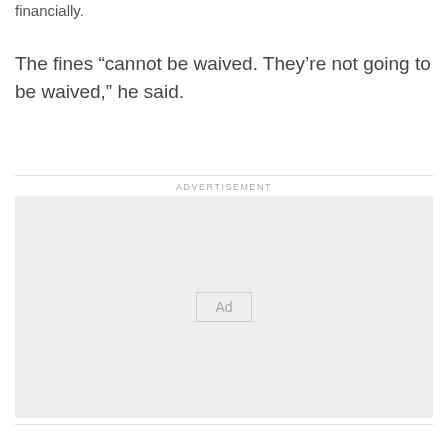financially.
The fines “cannot be waived. They’re not going to be waived,” he said.
ADVERTISEMENT
[Figure (other): Advertisement placeholder box with 'Ad' label in center]
...